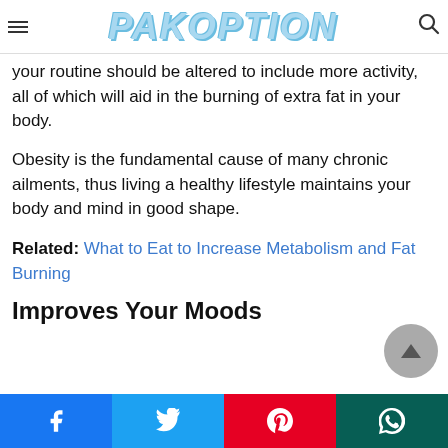PAKOPTION
your routine should be altered to include more activity, all of which will aid in the burning of extra fat in your body.
Obesity is the fundamental cause of many chronic ailments, thus living a healthy lifestyle maintains your body and mind in good shape.
Related: What to Eat to Increase Metabolism and Fat Burning
Improves Your Moods
[Figure (other): Scroll to top button, circular grey button with upward triangle arrow]
Social share buttons: Facebook, Twitter, Pinterest, WhatsApp